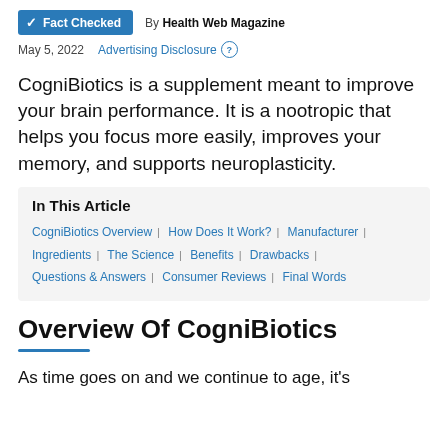Fact Checked | By Health Web Magazine
May 5, 2022   Advertising Disclosure ?
CogniBiotics is a supplement meant to improve your brain performance. It is a nootropic that helps you focus more easily, improves your memory, and supports neuroplasticity.
In This Article
CogniBiotics Overview | How Does It Work? | Manufacturer | Ingredients | The Science | Benefits | Drawbacks | Questions & Answers | Consumer Reviews | Final Words
Overview Of CogniBiotics
As time goes on and we continue to age, it's